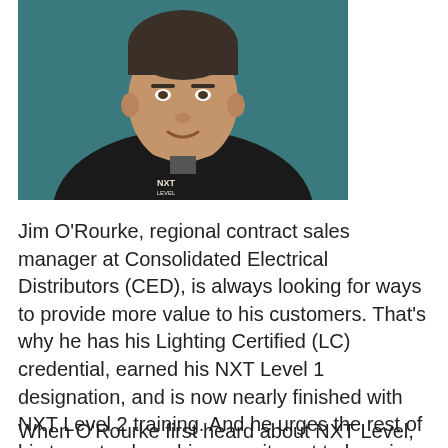[Figure (photo): Headshot photo of Jim O'Rourke wearing a dark jacket with 'NXT LEVEL' logo on the chest, against a teal background.]
Jim O'Rourke, regional contract sales manager at Consolidated Electrical Distributors (CED), is always looking for ways to provide more value to his customers. That's why he has his Lighting Certified (LC) credential, earned his NXT Level 1 designation, and is now nearly finished with NXT Level 2 training. And he urges the rest of his team to share his commitment to learning the latest in lighting.
When O'Rourke first heard about NXT Level, he